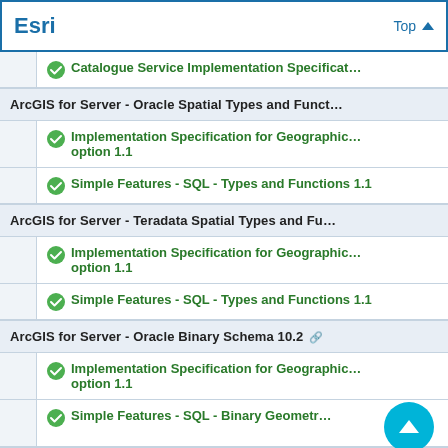Esri  Top
Catalogue Service Implementation Specificat…
ArcGIS for Server - Oracle Spatial Types and Func…
Implementation Specification for Geographic… option 1.1
Simple Features - SQL - Types and Functions 1.1
ArcGIS for Server - Teradata Spatial Types and Fu…
Implementation Specification for Geographic… option 1.1
Simple Features - SQL - Types and Functions 1.1
ArcGIS for Server - Oracle Binary Schema 10.2
Implementation Specification for Geographic… option 1.1
Simple Features - SQL - Binary Geometr…
ArcGIS for Server - DB2 Spatial Types and Functio…